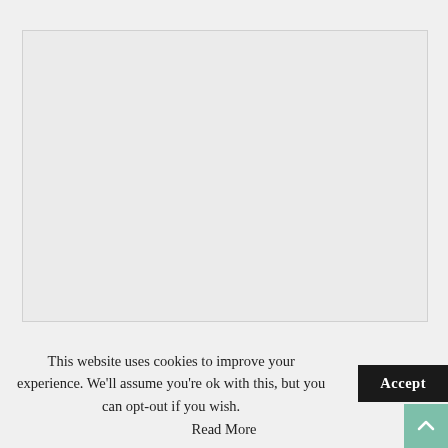[Figure (other): Large light grey placeholder image box]
CodeCanyon ◆ Plugins
This website uses cookies to improve your experience. We'll assume you're ok with this, but you can opt-out if you wish. Accept
Read More